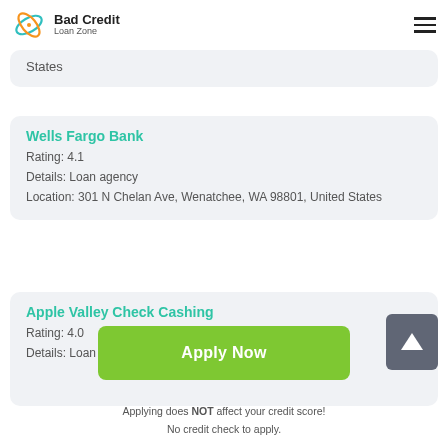Bad Credit Loan Zone
States
Wells Fargo Bank
Rating: 4.1
Details: Loan agency
Location: 301 N Chelan Ave, Wenatchee, WA 98801, United States
Apple Valley Check Cashing
Rating: 4.0
Details: Loan agency
Apply Now
Applying does NOT affect your credit score!
No credit check to apply.